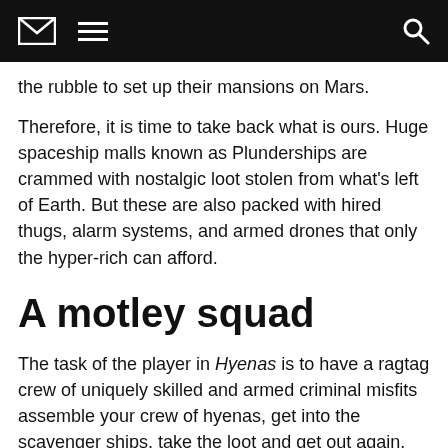[navigation bar with envelope icon, hamburger menu, and search icon]
the rubble to set up their mansions on Mars.
Therefore, it is time to take back what is ours. Huge spaceship malls known as Plunderships are crammed with nostalgic loot stolen from what's left of Earth. But these are also packed with hired thugs, alarm systems, and armed drones that only the hyper-rich can afford.
A motley squad
The task of the player in Hyenas is to have a ragtag crew of uniquely skilled and armed criminal misfits assemble your crew of hyenas, get into the scavenger ships, take the loot and get out again.
“We believe the key to the success of any modern shooter is understanding what players want to see and where they want their experience to take them. We know we have something interesting to offer, but we also know the odds are against us,” said Executive